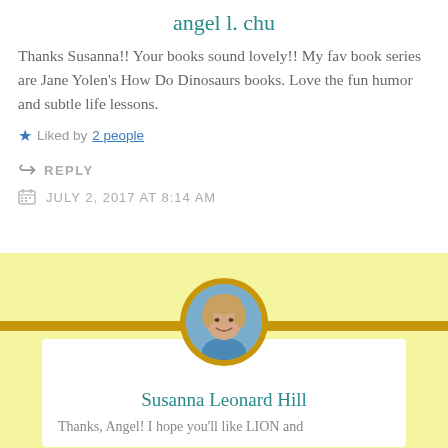angel l. chu
Thanks Susanna!! Your books sound lovely!! My fav book series are Jane Yolen's How Do Dinosaurs books. Love the fun humor and subtle life lessons.
★ Liked by 2 people
↳ REPLY
JULY 2, 2017 AT 8:14 AM
[Figure (photo): Circular avatar photo of Susanna Leonard Hill, a woman with blonde/brown hair, smiling]
Susanna Leonard Hill
Thanks, Angel! I hope you'll like LION and